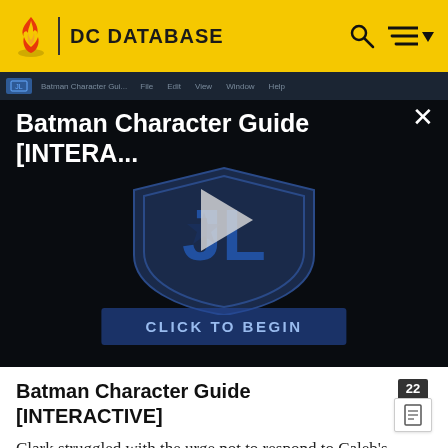DC DATABASE
[Figure (screenshot): A video thumbnail for 'Batman Character Guide [INTERA...]' showing a Justice League shield logo on a dark background with a play button in the center and a 'CLICK TO BEGIN' button at the bottom. The interface resembles a browser window.]
Batman Character Guide [INTERACTIVE]
Clark struggled with the urge not to respond to Caleb's behavior in kind, something his mother talked him out of, telling him that it was better to help people find the good within themselves rather than correct their behavior by